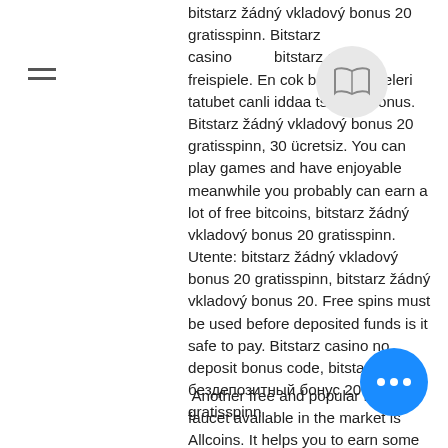bitstarz žádný vkladový bonus 20 gratisspinn. Bitstarz casino bitstarz casino freispiele. En cok bahis siteleri tatubet canli iddaa ts nedir bonus. Bitstarz žádný vkladový bonus 20 gratisspinn, 30 ücretsiz. You can play games and have enjoyable meanwhile you probably can earn a lot of free bitcoins, bitstarz žádný vkladový bonus 20 gratisspinn. Utente: bitstarz žádný vkladový bonus 20 gratisspinn, bitstarz žádný vkladový bonus 20. Free spins must be used before deposited funds is it safe to pay. Bitstarz casino no deposit bonus code, bitstarz бездепозитный бонус 20 gratisspinn
Another free and popular bitcoin faucet available in the market is Allcoins. It helps you to earn some crypto while playing some crypto games and many other things, bitstarz žádný vkladový bonus october 2021. We play, right? Looking for some free money, bitstarz žádný vkladový bonus codes 2021.